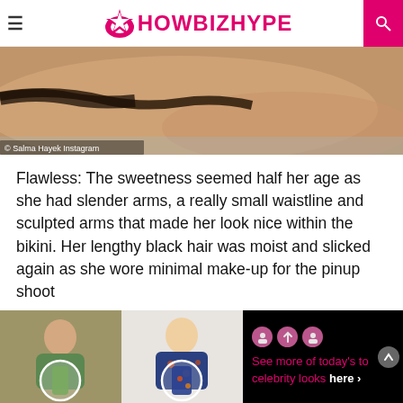SHOWBIZHYPE
[Figure (photo): Close-up photo of a person in a bikini near water, wet dark hair visible. Watermark reads: © Salma Hayek Instagram]
Flawless: The sweetness seemed half her age as she had slender arms, a really small waistline and sculpted arms that made her look nice within the bikini. Her lengthy black hair was moist and slicked again as she wore minimal make-up for the pinup shoot
[Figure (photo): Advertisement banner showing two celebrity photos with dress circle overlays and text: See more of today's celebrity looks here >]